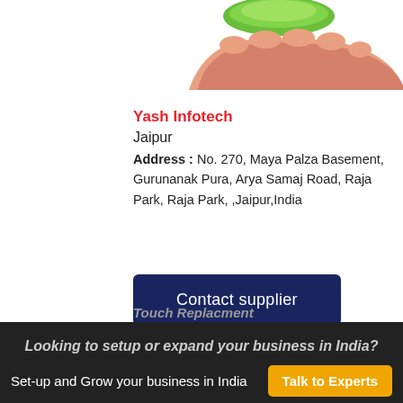[Figure (photo): Partial view of a hand holding a green circular object (aloe vera or similar product), visible at top right of the page]
Yash Infotech
Jaipur
Address : No. 270, Maya Palza Basement, Gurunanak Pura, Arya Samaj Road, Raja Park, Raja Park, ,Jaipur,India
Contact supplier
Touch Replacment
Looking to setup or expand your business in India?
Set-up and Grow your business in India
Talk to Experts